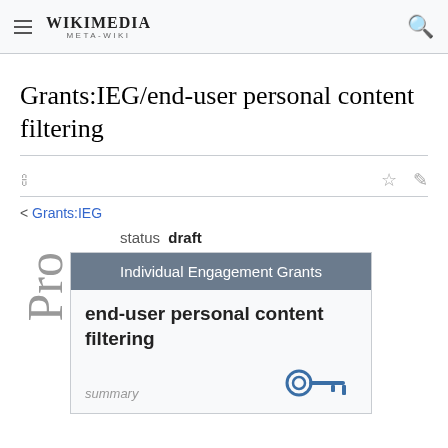WIKIMEDIA META-WIKI
Grants:IEG/end-user personal content filtering
< Grants:IEG
status  draft
| Individual Engagement Grants |
| --- |
| end-user personal content filtering |
| summary |